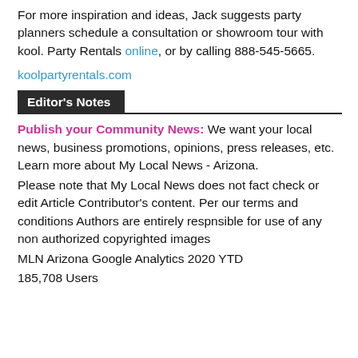For more inspiration and ideas, Jack suggests party planners schedule a consultation or showroom tour with kool. Party Rentals online, or by calling 888-545-5665.
koolpartyrentals.com
Editor's Notes
Publish your Community News: We want your local news, business promotions, opinions, press releases, etc. Learn more about My Local News - Arizona.
Please note that My Local News does not fact check or edit Article Contributor's content. Per our terms and conditions Authors are entirely respnsible for use of any non authorized copyrighted images
MLN Arizona Google Analytics 2020 YTD
185,708 Users